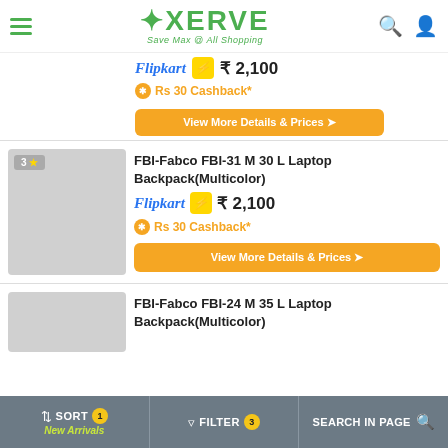[Figure (screenshot): Xerve app header logo with hamburger menu, search icon, and user icon]
Flipkart ₹ 2,100
Rs 30 Cashback*
View More Details & Prices ❯
[Figure (photo): Product image placeholder for FBI-Fabco FBI-31 M 30 L Laptop Backpack, gray box with 3-star badge]
FBI-Fabco FBI-31 M 30 L Laptop Backpack(Multicolor)
Flipkart ₹ 2,100
Rs 30 Cashback*
View More Details & Prices ❯
FBI-Fabco FBI-24 M 35 L Laptop Backpack(Multicolor)
SORT 1 New Arrivals | FILTER 3 | SEARCH IN PAGE